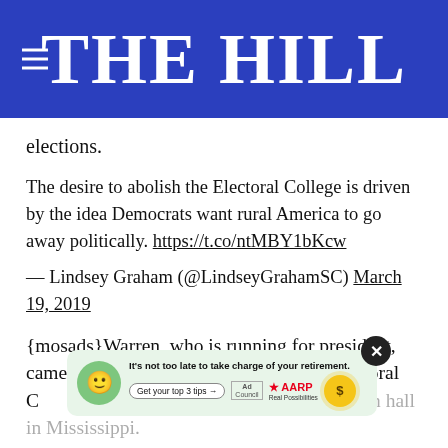THE HILL
elections.
The desire to abolish the Electoral College is driven by the idea Democrats want rural America to go away politically. https://t.co/ntMBY1bKcw

— Lindsey Graham (@LindseyGrahamSC) March 19, 2019
{mosads}Warren, who is running for president, came out in support of eliminating the Electoral College on Monday at a town hall in Mississippi.
"Every vote matters," Warren said. "And the way we
[Figure (screenshot): AARP advertisement overlay with green smiley face: 'It's not too late to take charge of your retirement. Get your top 3 tips →' with Ad Council and AARP logos and sun icon. Has a close (X) button.]